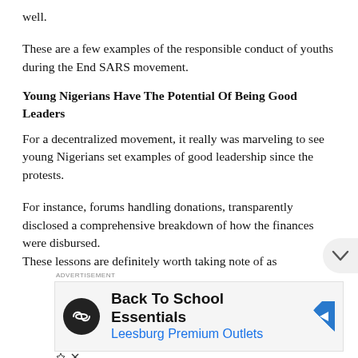well.
These are a few examples of the responsible conduct of youths during the End SARS movement.
Young Nigerians Have The Potential Of Being Good Leaders
For a decentralized movement, it really was marveling to see young Nigerians set examples of good leadership since the protests.
For instance, forums handling donations, transparently disclosed a comprehensive breakdown of how the finances were disbursed.
These lessons are definitely worth taking note of as
[Figure (screenshot): Advertisement banner for Back To School Essentials at Leesburg Premium Outlets, showing a black circular logo with an infinity-like symbol, blue text, and a blue diamond-shaped navigation arrow icon.]